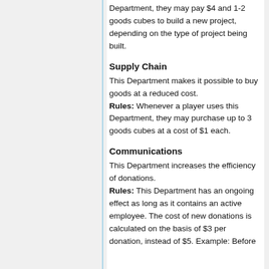Department, they may pay $4 and 1-2 goods cubes to build a new project, depending on the type of project being built.
Supply Chain
This Department makes it possible to buy goods at a reduced cost. Rules: Whenever a player uses this Department, they may purchase up to 3 goods cubes at a cost of $1 each.
Communications
This Department increases the efficiency of donations. Rules: This Department has an ongoing effect as long as it contains an active employee. The cost of new donations is calculated on the basis of $3 per donation, instead of $5. Example: Before